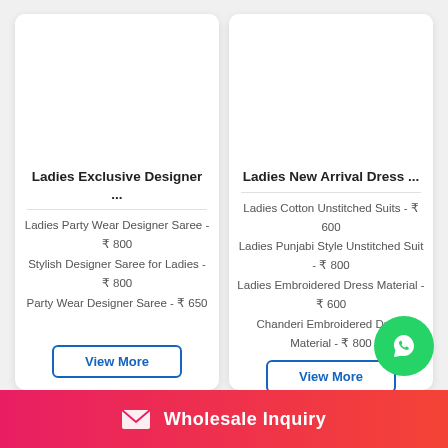Ladies Exclusive Designer ...
Ladies Party Wear Designer Saree - ₹ 800
Stylish Designer Saree for Ladies - ₹ 800
Party Wear Designer Saree - ₹ 650
Ladies New Arrival Dress ...
Ladies Cotton Unstitched Suits - ₹ 600
Ladies Punjabi Style Unstitched Suit - ₹ 800
Ladies Embroidered Dress Material - ₹ 600
Chanderi Embroidered Dress Material - ₹ 800
Wholesale Inquiry